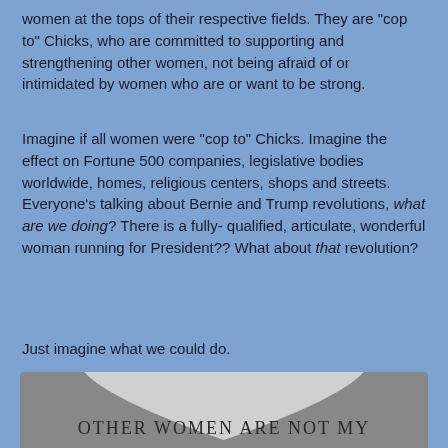women at the tops of their respective fields. They are “cop to” Chicks, who are committed to supporting and strengthening other women, not being afraid of or intimidated by women who are or want to be strong.
Imagine if all women were “cop to” Chicks. Imagine the effect on Fortune 500 companies, legislative bodies worldwide, homes, religious centers, shops and streets. Everyone’s talking about Bernie and Trump revolutions, what are we doing? There is a fully-qualified, articulate, wonderful woman running for President?? What about that revolution?
Just imagine what we could do.
[Figure (illustration): A large heart shape on a gray background with the text 'Other Women are not my' displayed inside or below the heart in small-caps serif font.]